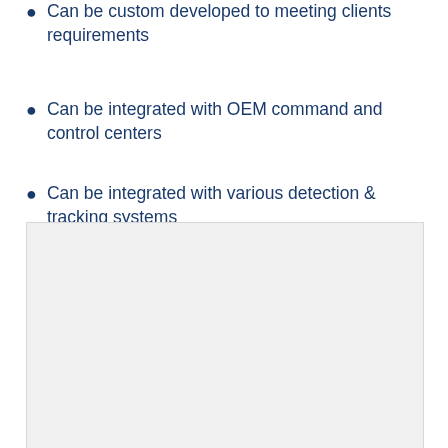Can be custom developed to meeting clients requirements
Can be integrated with OEM command and control centers
Can be integrated with various detection & tracking systems
[Figure (photo): Light grey rectangular image placeholder area]